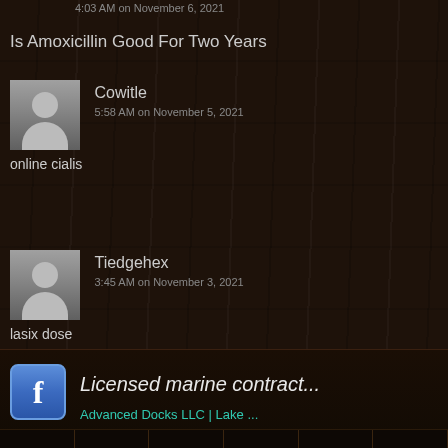4:03 AM on November 6, 2021
Is Amoxicillin Good For Two Years
Cowitle
5:58 AM on November 5, 2021
online cialis
Tiedgehex
3:45 AM on November 3, 2021
lasix dose
1
2
3
Licensed marine contract...
Advanced Docks LLC | Lake ...